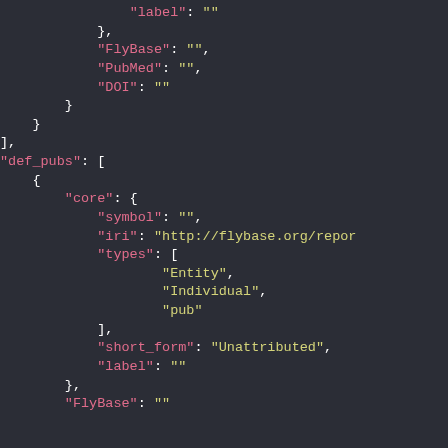JSON code snippet showing FlyBase data structure with fields: label, FlyBase, PubMed, DOI, def_pubs array with core object containing symbol, iri, types (Entity, Individual, pub), short_form (Unattributed), label, FlyBase fields